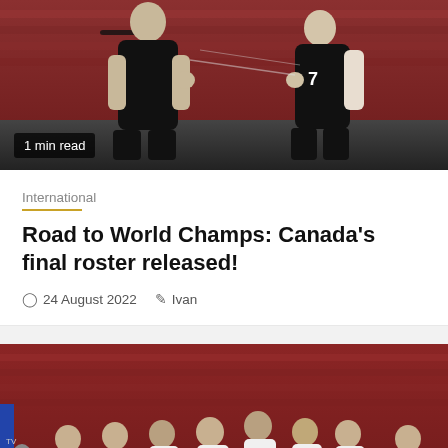[Figure (photo): Volleyball players in black uniforms celebrating/fist-bumping on court, seen from behind, with red stadium seats in background. Badge overlay reads '1 min read'.]
1 min read
International
Road to World Champs: Canada's final roster released!
24 August 2022   Ivan
[Figure (photo): A group of male volleyball players in white uniforms with blue numbers huddling together on a teal court, with red stadium seats in background and a red-uniformed player visible on the right.]